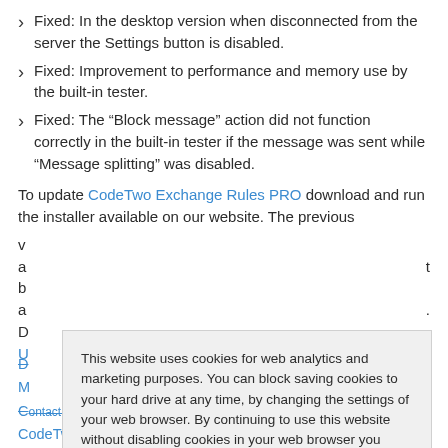Fixed: In the desktop version when disconnected from the server the Settings button is disabled.
Fixed: Improvement to performance and memory use by the built-in tester.
Fixed: The “Block message” action did not function correctly in the built-in tester if the message was sent while “Message splitting” was disabled.
To update CodeTwo Exchange Rules PRO download and run the installer available on our website. The previous v[...] a[...] b[...] a[...] D[...] U[...]
This website uses cookies for web analytics and marketing purposes. You can block saving cookies to your hard drive at any time, by changing the settings of your web browser. By continuing to use this website without disabling cookies in your web browser you agree to saving cookies to your hard drive. Learn more in our Privacy Policy.
D[...] M[...] C[...] Contact CodeTwo Technical Support CodeTwo Home